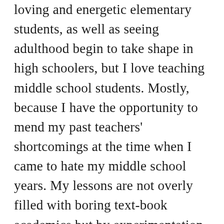loving and energetic elementary students, as well as seeing adulthood begin to take shape in high schoolers, but I love teaching middle school students. Mostly, because I have the opportunity to mend my past teachers' shortcomings at the time when I came to hate my middle school years. My lessons are not overly filled with boring text-book academics but by experimentation and discovery. My kids know they can mess up in my classes – in fact it is one of my assessment criteria; that they venture into their unknown and experiment. I love that they are never afraid to try new things, that they love to create stories and that they (particularly boys) gravitate towards the technical. Girls tend to stick more to story-telling and